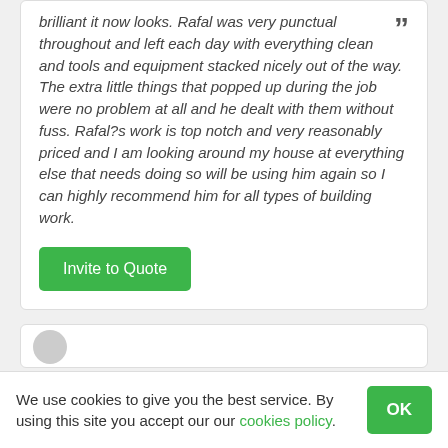brilliant it now looks. Rafal was very punctual throughout and left each day with everything clean and tools and equipment stacked nicely out of the way. The extra little things that popped up during the job were no problem at all and he dealt with them without fuss. Rafal?s work is top notch and very reasonably priced and I am looking around my house at everything else that needs doing so will be using him again so I can highly recommend him for all types of building work.
Invite to Quote
We use cookies to give you the best service. By using this site you accept our our cookies policy.